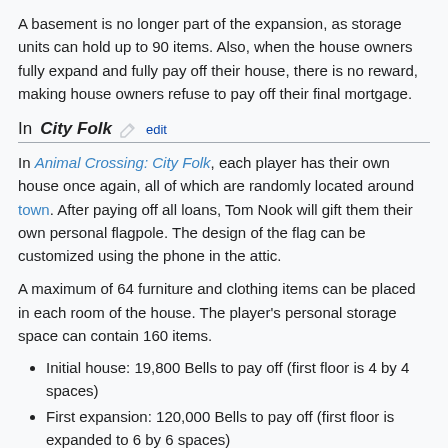A basement is no longer part of the expansion, as storage units can hold up to 90 items. Also, when the house owners fully expand and fully pay off their house, there is no reward, making house owners refuse to pay off their final mortgage.
In City Folk [edit]
In Animal Crossing: City Folk, each player has their own house once again, all of which are randomly located around town. After paying off all loans, Tom Nook will gift them their own personal flagpole. The design of the flag can be customized using the phone in the attic.
A maximum of 64 furniture and clothing items can be placed in each room of the house. The player's personal storage space can contain 160 items.
Initial house: 19,800 Bells to pay off (first floor is 4 by 4 spaces)
First expansion: 120,000 Bells to pay off (first floor is expanded to 6 by 6 spaces)
Second expansion: 248,000 Bells to pay off (first floor is expanded to 8 by 8 spaces)